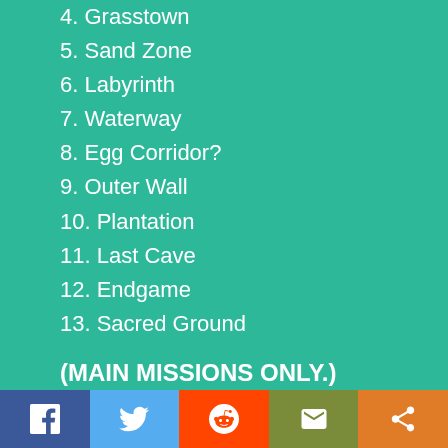4. Grasstown
5. Sand Zone
6. Labyrinth
7. Waterway
8. Egg Corridor?
9. Outer Wall
10. Plantation
11. Last Cave
12. Endgame
13. Sacred Ground
(MAIN MISSIONS ONLY.)
- - - - - - - - - - - - - - - - - - - - - - - - - - - - - - - - - - - - - - -